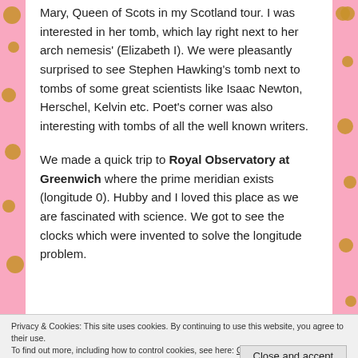Mary, Queen of Scots in my Scotland tour. I was interested in her tomb, which lay right next to her arch nemesis' (Elizabeth I). We were pleasantly surprised to see Stephen Hawking's tomb next to tombs of some great scientists like Isaac Newton, Herschel, Kelvin etc. Poet's corner was also interesting with tombs of all the well known writers.
We made a quick trip to Royal Observatory at Greenwich where the prime meridian exists (longitude 0). Hubby and I loved this place as we are fascinated with science. We got to see the clocks which were invented to solve the longitude problem.
Privacy & Cookies: This site uses cookies. By continuing to use this website, you agree to their use.
To find out more, including how to control cookies, see here: Cookie Policy
Close and accept
We visited the Natural History Museum after...